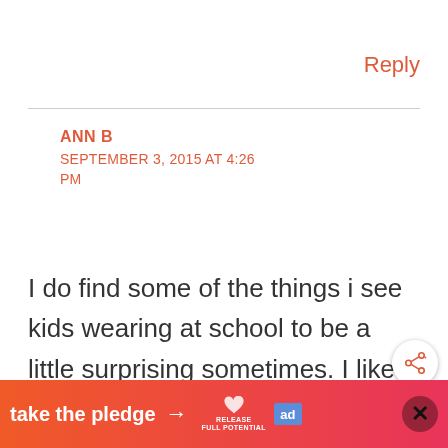Reply
ANN B
SEPTEMBER 3, 2015 AT 4:26 PM
I do find some of the things i see kids wearing at school to be a little surprising sometimes. I like
[Figure (infographic): Orange-to-pink gradient ad banner reading 'take the pledge' with arrow, RELEASE logo with heart icon, ad badge, close X button, and watermark logo]